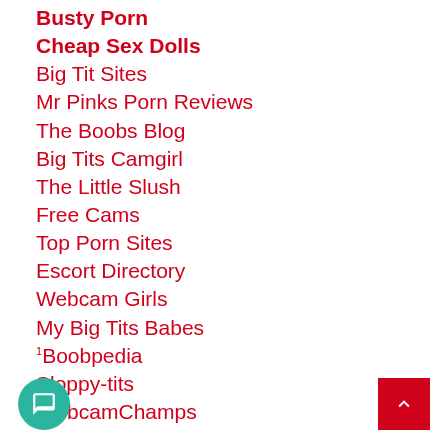Busty Porn
Cheap Sex Dolls
Big Tit Sites
Mr Pinks Porn Reviews
The Boobs Blog
Big Tits Camgirl
The Little Slush
Free Cams
Top Porn Sites
Escort Directory
Webcam Girls
My Big Tits Babes
Boobpedia
Sloppy-tits
WebcamChamps